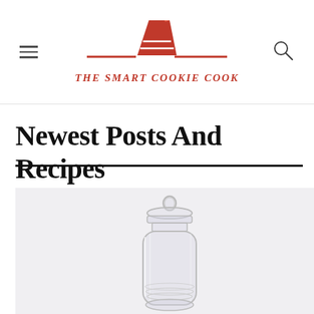THE SMART COOKIE COOK
Newest Posts And Recipes
[Figure (photo): A clear glass jar with a lid, photographed on a light gray/white background. The jar appears to be an apothecary-style candy jar with a decorative stopper lid.]